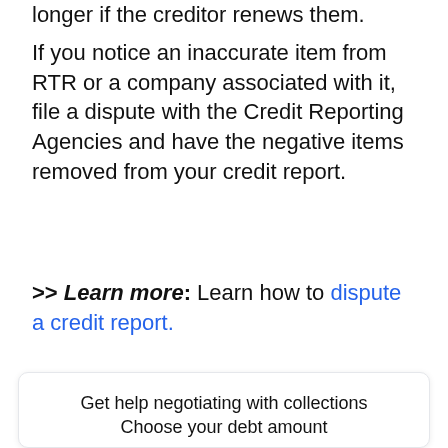longer if the creditor renews them.
If you notice an inaccurate item from RTR or a company associated with it, file a dispute with the Credit Reporting Agencies and have the negative items removed from your credit report.
>> Learn more: Learn how to dispute a credit report.
Get help negotiating with collections
Choose your debt amount
[Figure (other): A dark navy button showing '$25,000' and a blue circular arrow icon below it, inside a card widget for choosing debt amount]